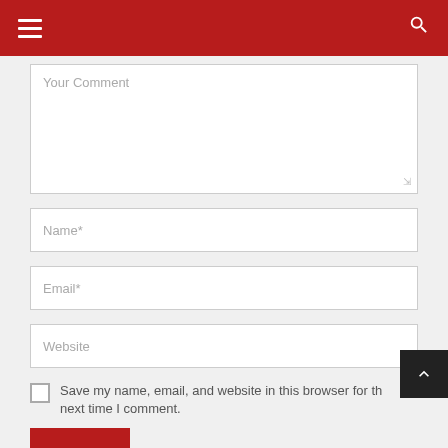Navigation header with hamburger menu and search icon
Your Comment
Name*
Email*
Website
Save my name, email, and website in this browser for the next time I comment.